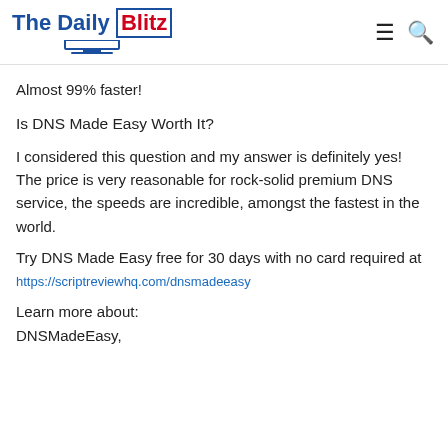The Daily Blitz
Almost 99% faster!
Is DNS Made Easy Worth It?
I considered this question and my answer is definitely yes!
The price is very reasonable for rock-solid premium DNS service, the speeds are incredible, amongst the fastest in the world.
Try DNS Made Easy free for 30 days with no card required at https://scriptreviewhq.com/dnsmadeeasy
Learn more about:
DNSMadeEasy,